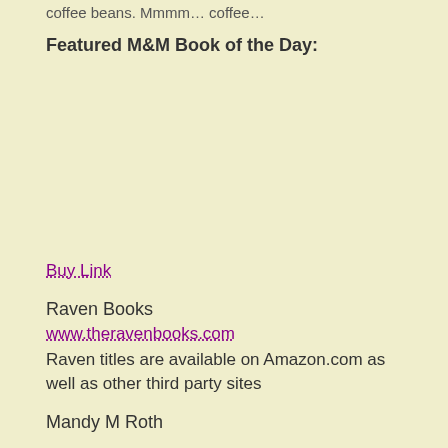coffee beans. Mmmm… coffee…
Featured M&M Book of the Day:
Buy Link
Raven Books
www.theravenbooks.com
Raven titles are available on Amazon.com as well as other third party sites
Mandy M Roth